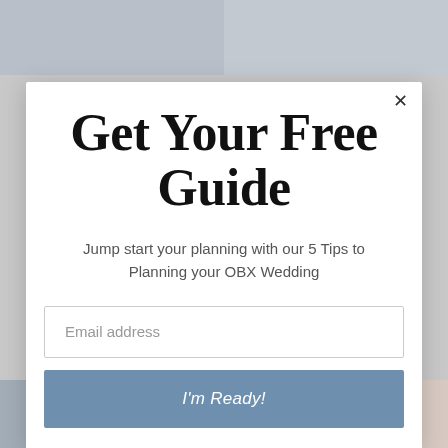[Figure (photo): Background showing two photos of a groomsman in white shirt top row, and two photos bottom row showing a wedding ring and floral bouquet]
Get Your Free Guide
Jump start your planning with our 5 Tips to Planning your OBX Wedding
Email address
I'm Ready!